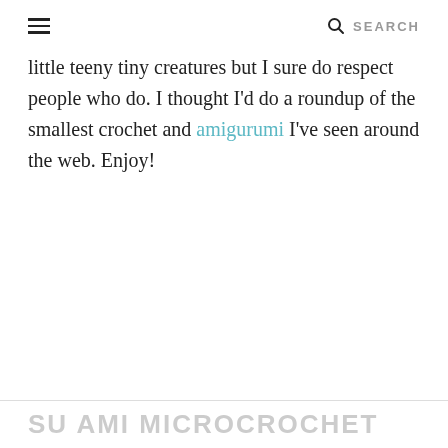☰  SEARCH
little teeny tiny creatures but I sure do respect people who do. I thought I'd do a roundup of the smallest crochet and amigurumi I've seen around the web. Enjoy!
SU AMI MICROCROCHET